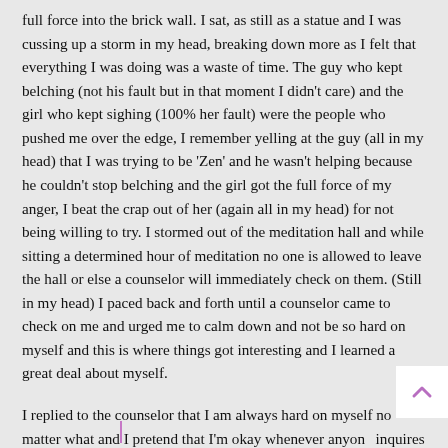full force into the brick wall. I sat, as still as a statue and I was cussing up a storm in my head, breaking down more as I felt that everything I was doing was a waste of time. The guy who kept belching (not his fault but in that moment I didn't care) and the girl who kept sighing (100% her fault) were the people who pushed me over the edge, I remember yelling at the guy (all in my head) that I was trying to be 'Zen' and he wasn't helping because he couldn't stop belching and the girl got the full force of my anger, I beat the crap out of her (again all in my head) for not being willing to try. I stormed out of the meditation hall and while sitting a determined hour of meditation no one is allowed to leave the hall or else a counselor will immediately check on them. (Still in my head) I paced back and forth until a counselor came to check on me and urged me to calm down and not be so hard on myself and this is where things got interesting and I learned a great deal about myself.
I replied to the counselor that I am always hard on myself no matter what and I pretend that I'm okay whenever anyone inquires but the truth is I'm not okay,